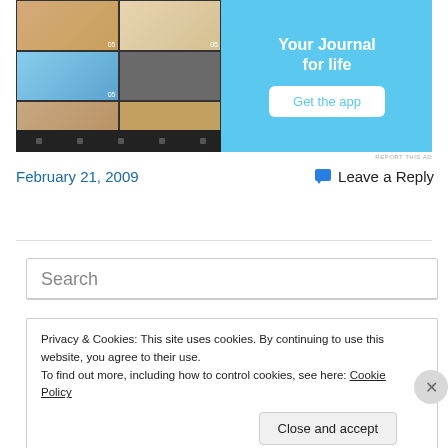[Figure (screenshot): App advertisement banner with blue background showing a phone screenshot grid on the left and text 'Your Journal for life' with a 'Get the app' button on the right]
REPORT THIS AD
February 21, 2009
Leave a Reply
Search
Privacy & Cookies: This site uses cookies. By continuing to use this website, you agree to their use.
To find out more, including how to control cookies, see here: Cookie Policy
Close and accept